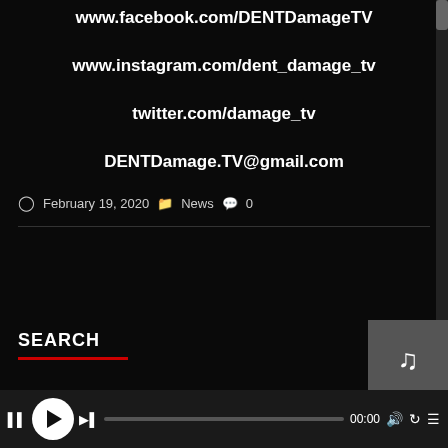www.facebook.com/DENTDamageTV
www.instagram.com/dent_damage_tv
twitter.com/damage_tv
DENTDamage.TV@gmail.com
February 19, 2020  News  0
SEARCH
[Figure (screenshot): Media player bar with play button, progress bar, time display 00:00, volume, repeat, and menu icons]